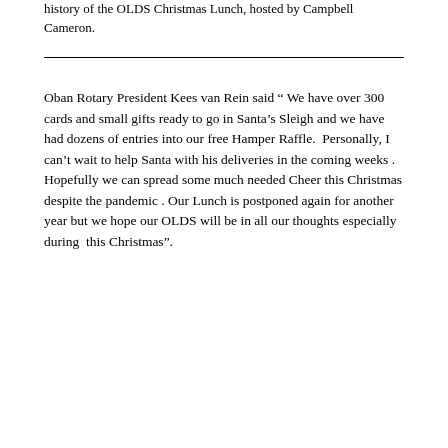history of the OLDS Christmas Lunch, hosted by Campbell Cameron.
Oban Rotary President Kees van Rein said “ We have over 300 cards and small gifts ready to go in Santa’s Sleigh and we have had dozens of entries into our free Hamper Raffle.  Personally, I can’t wait to help Santa with his deliveries in the coming weeks . Hopefully we can spread some much needed Cheer this Christmas despite the pandemic . Our Lunch is postponed again for another year but we hope our OLDS will be in all our thoughts especially during  this Christmas”.